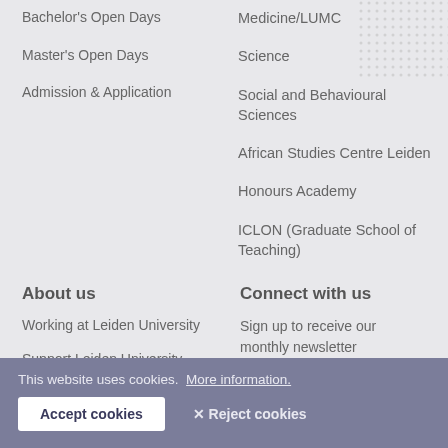Bachelor's Open Days
Master's Open Days
Admission & Application
Medicine/LUMC
Science
Social and Behavioural Sciences
African Studies Centre Leiden
Honours Academy
ICLON (Graduate School of Teaching)
About us
Working at Leiden University
Support Leiden University
Alumni
Impact
Connect with us
Sign up to receive our monthly newsletter
[Figure (infographic): Row of 5 circular social media icons: Facebook, Twitter, YouTube, LinkedIn, Instagram]
This website uses cookies. More information.
Accept cookies
✕ Reject cookies